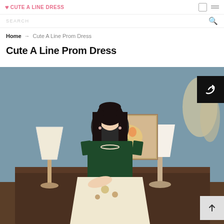Home → Cute A Line Prom Dress
Cute A Line Prom Dress
[Figure (photo): A young woman wearing a dark green velvet off-shoulder prom dress with floral embellishments at the bottom, standing in front of a decorative background with two lamps and a floral painting. A share button icon appears in the top-right corner and a scroll-to-top button in the bottom-right corner.]